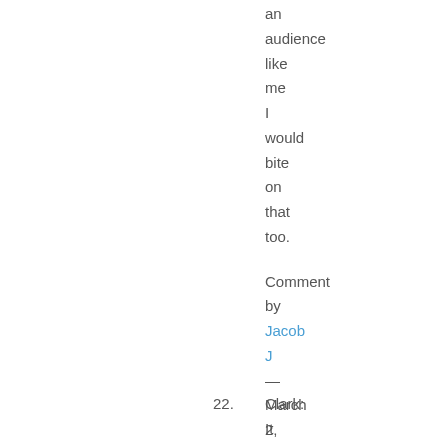an audience like me I would bite on that too.
Comment by Jacob J — March 2, 2009 @ 10:27 am
…….
22. Clark: It is clea…